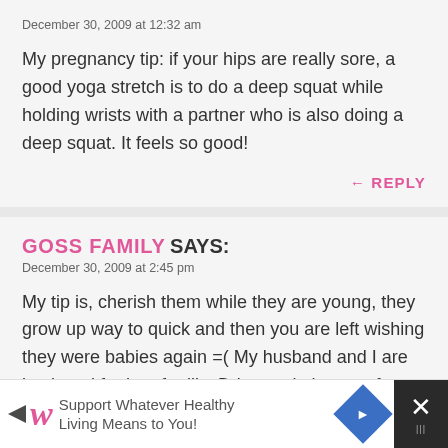December 30, 2009 at 12:32 am
My pregnancy tip: if your hips are really sore, a good yoga stretch is to do a deep squat while holding wrists with a partner who is also doing a deep squat. It feels so good!
REPLY
GOSS FAMILY SAYS:
December 30, 2009 at 2:45 pm
My tip is, cherish them while they are young, they grow up way to quick and then you are left wishing they were babies again =( My husband and I are back and forth to fertility Dr's now in hopes of adding a
[Figure (screenshot): Walgreens advertisement banner: 'Support Whatever Healthy Living Means to You!' with Walgreens logo, navigation arrow icon, blue diamond icon, and close button.]